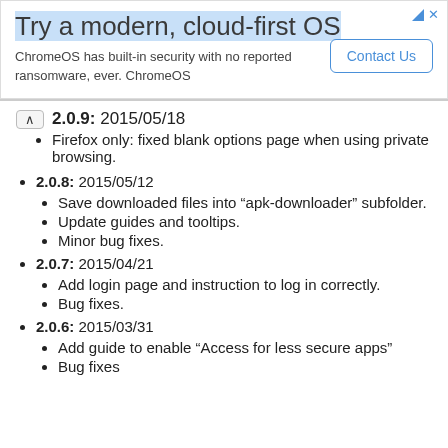[Figure (other): Advertisement banner: 'Try a modern, cloud-first OS' with ChromeOS description and 'Contact Us' button]
2.0.9: 2015/05/18
Firefox only: fixed blank options page when using private browsing.
2.0.8: 2015/05/12
Save downloaded files into “apk-downloader” subfolder.
Update guides and tooltips.
Minor bug fixes.
2.0.7: 2015/04/21
Add login page and instruction to log in correctly.
Bug fixes.
2.0.6: 2015/03/31
Add guide to enable “Access for less secure apps”
Bug fixes